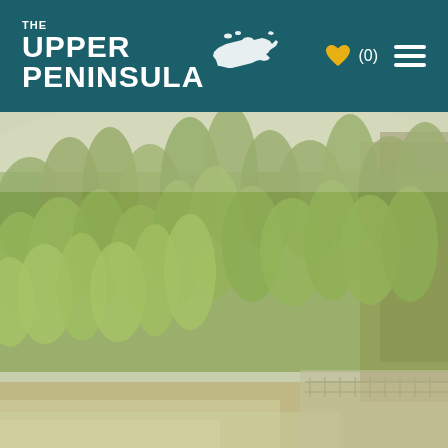[Figure (screenshot): Website header for 'The Upper Peninsula' featuring a teal/dark green background with white logo text and a white silhouette map of Michigan's Upper Peninsula, with a gold heart icon, '(0)' text, and a hamburger menu icon on the right.]
[Figure (photo): Outdoor nature photograph showing a dense forest of green trees, with a waterfall or dam structure visible at the bottom right, and a misty/foggy background. The image has a warm, slightly washed-out green-yellow tone.]